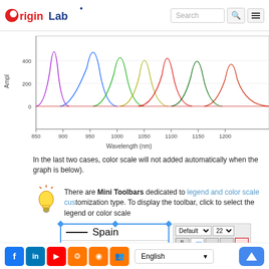OriginLab [logo] Search
[Figure (continuous-plot): Multi-peak spectral amplitude chart showing several Gaussian-like peaks of different colors at wavelengths from approximately 850 to 1220 nm. Y-axis labeled 'Ampl' with values 0, 200, 400. X-axis labeled 'Wavelength (nm)' with ticks at 850, 900, 950, 1000, 1050, 1100, 1150, 1200.]
In the last two cases, color scale will not added automatically when the graph is below).
There are Mini Toolbars dedicated to legend and color scale customization type. To display the toolbar, click to select the legend or color scale
[Figure (screenshot): Legend box with blue border showing three entries: Spain (black line), Italy (red line), France (blue line), with a mini toolbar panel to the right showing font controls, icons, and 'Use Comm' option.]
Facebook LinkedIn YouTube Settings Blog Groups | English | Up button